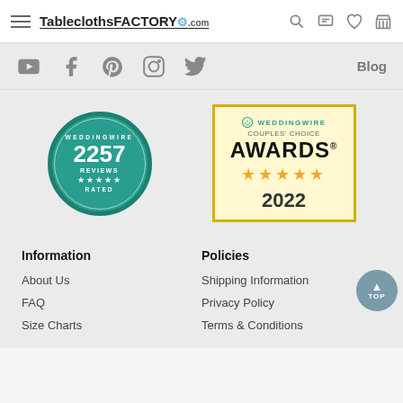TableclothsFACTORY.com
[Figure (screenshot): Social media icons: YouTube, Facebook, Pinterest, Instagram, Twitter, and Blog link]
[Figure (logo): WeddingWire 2257 Reviews Rated badge - circular teal badge]
[Figure (logo): WeddingWire Couples Choice Awards 2022 - gold bordered award box with 5 stars]
Information
Policies
About Us
Shipping Information
FAQ
Privacy Policy
Size Charts
Terms & Conditions